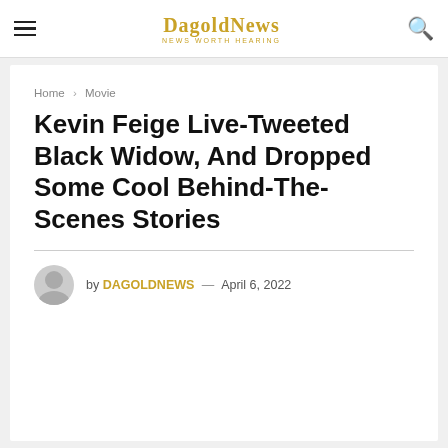DagoldNews — News Worth Hearing
Home > Movie
Kevin Feige Live-Tweeted Black Widow, And Dropped Some Cool Behind-The-Scenes Stories
by DAGOLDNEWS — April 6, 2022